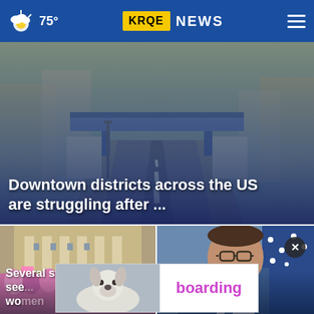75° KRQE NEWS
[Figure (photo): Empty highway with overpass bridge, bare trees on both sides, road stretching into distance]
Downtown districts across the US are struggling after ...
[Figure (photo): Crowd of protesters outside a government building with columns, pink signs visible]
Several states see ... women
[Figure (photo): Man in blue suit speaking or reacting, glasses, goatee, American flag in background]
in student ... 0B
[Figure (photo): Advertisement banner showing a dog and text 'boarding']